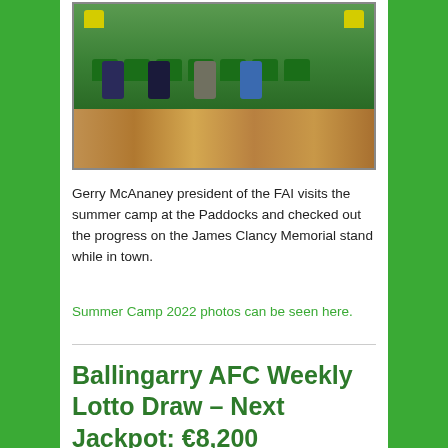[Figure (photo): Four people sitting on green stadium seats in front of a stone wall]
Gerry McAnaney president of the FAI visits the summer camp at the Paddocks and checked out the progress on the James Clancy Memorial stand while in town.
Summer Camp 2022 photos can be seen here.
Ballingarry AFC Weekly Lotto Draw – Next Jackpot: €8,200